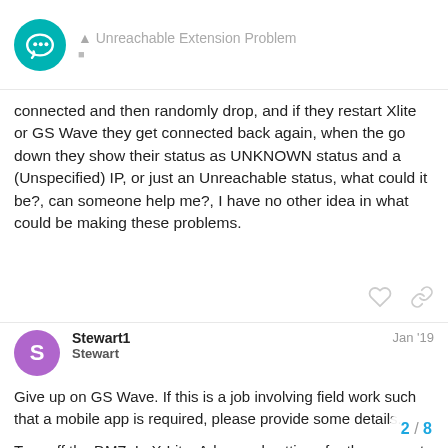Unreachable Extension Problem
connected and then randomly drop, and if they restart Xlite or GS Wave they get connected back again, when the go down they show their status as UNKNOWN status and a (Unspecified) IP, or just an Unreachable status, what could it be?, can someone help me?, I have no other idea in what could be making these problems.
Stewart1
Stewart
Jan '19
Give up on GS Wave. If this is a job involving field work such that a mobile app is required, please provide some details.

Turn off the DMZ. In X-Lite, Advanced settings for the account, set 'Reregister every' to 120 seconds and check the Send SIP keep-alives box. Make sure that the compu
sleep. If you still have trouble, post details
2 / 8